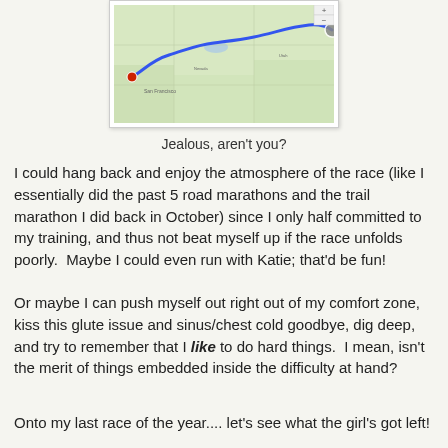[Figure (map): A Google Maps-style route map showing a long route drawn in blue from a location in California (San Francisco/Bay Area area, marked with a red pin) eastward across Nevada and into another state, ending at a point on the right side marked with a circle.]
Jealous, aren't you?
I could hang back and enjoy the atmosphere of the race (like I essentially did the past 5 road marathons and the trail marathon I did back in October) since I only half committed to my training, and thus not beat myself up if the race unfolds poorly.  Maybe I could even run with Katie; that'd be fun!
Or maybe I can push myself out right out of my comfort zone, kiss this glute issue and sinus/chest cold goodbye, dig deep, and try to remember that I like to do hard things.  I mean, isn't the merit of things embedded inside the difficulty at hand?
Onto my last race of the year.... let's see what the girl's got left!